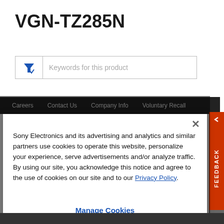VGN-TZ285N
[Figure (screenshot): Search filter input box with funnel icon and placeholder text 'Keywords for this product']
Careers   Contact Us   Company Info   Voluntary Recall
Sony Electronics and its advertising and analytics and similar partners use cookies to operate this website, personalize your experience, serve advertisements and/or analyze traffic. By using our site, you acknowledge this notice and agree to the use of cookies on our site and to our Privacy Policy.
Manage Cookies